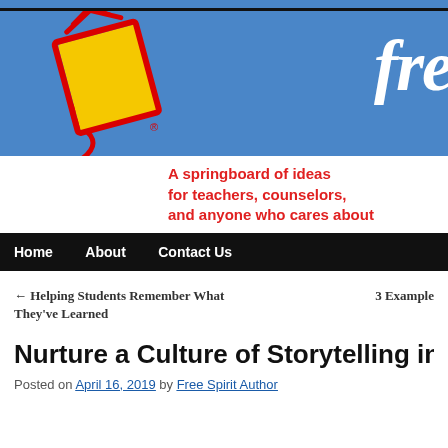[Figure (logo): Free Spirit Publishing logo — yellow book with red ribbon spiral, on blue header band with partial 'fre' text visible]
A springboard of ideas for teachers, counselors, and anyone who cares about
Home   About   Contact Us
← Helping Students Remember What They've Learned
3 Example
Nurture a Culture of Storytelling in
Posted on April 16, 2019 by Free Spirit Author